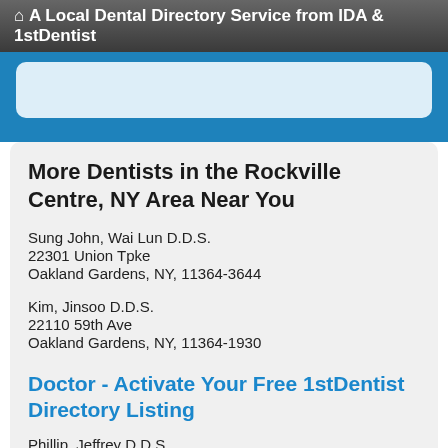A Local Dental Directory Service from IDA & 1stDentist
More Dentists in the Rockville Centre, NY Area Near You
Sung John, Wai Lun D.D.S.
22301 Union Tpke
Oakland Gardens, NY, 11364-3644
Kim, Jinsoo D.D.S.
22110 59th Ave
Oakland Gardens, NY, 11364-1930
Doctor - Activate Your Free 1stDentist Directory Listing
Phillip, Jeffrey D.D.S.
22442 64th Ave # B
Oakland Gardens, NY, 11364-3057